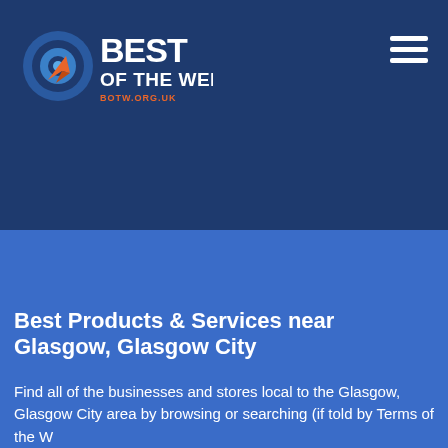[Figure (logo): Best of the Web logo with circular target icon and text 'BEST OF THE WEB' and 'BOTW.ORG.UK' in white and orange on dark navy background]
[Figure (other): Hamburger menu icon (three horizontal white lines) in top right corner]
Best Products & Services near Glasgow, Glasgow City
Find all of the businesses and stores local to the Glasgow, Glasgow City area by browsing or searching (if told by Terms of the W...